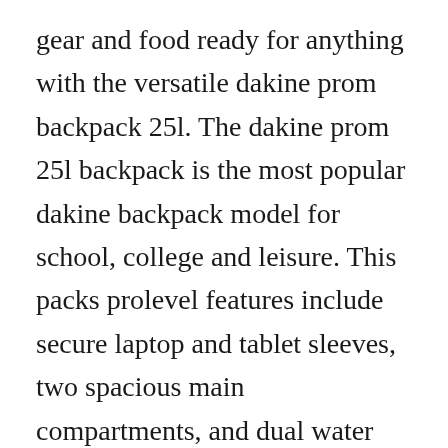gear and food ready for anything with the versatile dakine prom backpack 25l. The dakine prom 25l backpack is the most popular dakine backpack model for school, college and leisure. This packs prolevel features include secure laptop and tablet sleeves, two spacious main compartments, and dual water bottle slip pockets so you can store a days worth of essentials in one backpack. I received the dakine juliet prom backpack yesterday and i like many things about it. In fact, the dakine 365 backpack has more than 1,284 cubic inches 21 liters of storage space